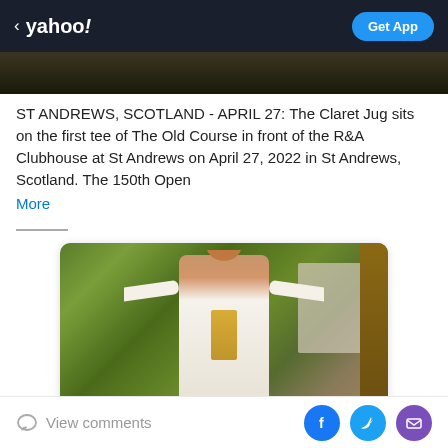yahoo! Get App
[Figure (photo): Partial dark photo strip at top of article page]
ST ANDREWS, SCOTLAND - APRIL 27: The Claret Jug sits on the first tee of The Old Course in front of the R&A Clubhouse at St Andrews on April 27, 2022 in St Andrews, Scotland. The 150th Open More
[Figure (photo): Yahoo Fantasy advertisement showing a man in a white open shirt with gold chains posing with arms out in front of tropical foliage and a building. Below shows 'yahoo!fantasy' logo and partial text 'Play fantasy football']
View comments